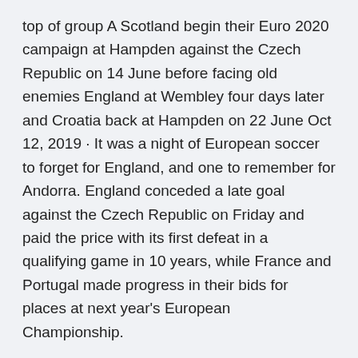top of group A Scotland begin their Euro 2020 campaign at Hampden against the Czech Republic on 14 June before facing old enemies England at Wembley four days later and Croatia back at Hampden on 22 June Oct 12, 2019 · It was a night of European soccer to forget for England, and one to remember for Andorra. England conceded a late goal against the Czech Republic on Friday and paid the price with its first defeat in a qualifying game in 10 years, while France and Portugal made progress in their bids for places at next year's European Championship.
This was their fourth win in the last five games. Oct 12, 2019 · Czech Republic 2-1 England: Three Lions suffer shock defeat in Euro 2020 qualifying England suffered their first tournament qualifying defeat for 10 years as they lost 2-1 against the Czech May 30, 2019 · Czech